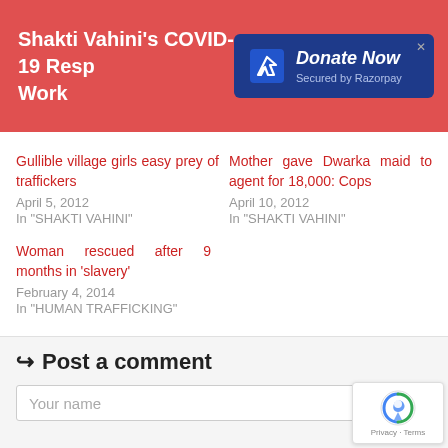Shakti Vahini's COVID-19 Response Work
[Figure (screenshot): Donate Now button secured by Razorpay, dark blue button with white italic text and logo]
Gullible village girls easy prey of traffickers
April 5, 2012
In "SHAKTI VAHINI"
Mother gave Dwarka maid to agent for 18,000: Cops
April 10, 2012
In "SHAKTI VAHINI"
Woman rescued after 9 months in 'slavery'
February 4, 2014
In "HUMAN TRAFFICKING"
Post a comment
Your name